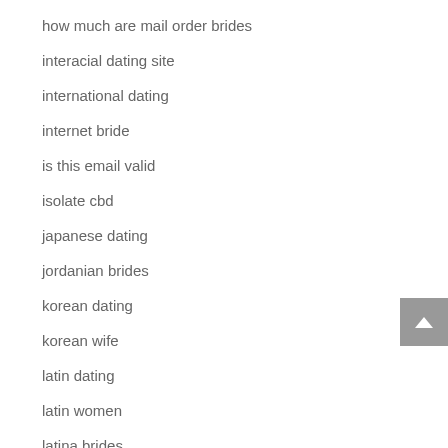how much are mail order brides
interacial dating site
international dating
internet bride
is this email valid
isolate cbd
japanese dating
jordanian brides
korean dating
korean wife
latin dating
latin women
latina brides
latina mail order brides